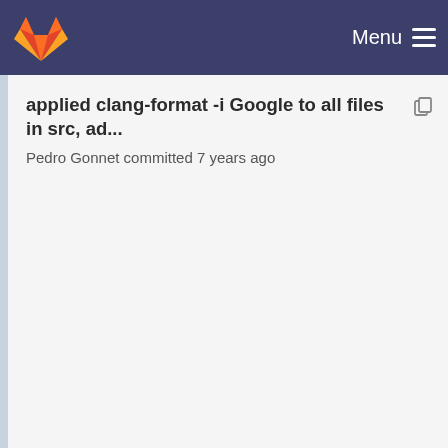Menu
applied clang-format -i Google to all files in src, ad...
Pedro Gonnet committed 7 years ago